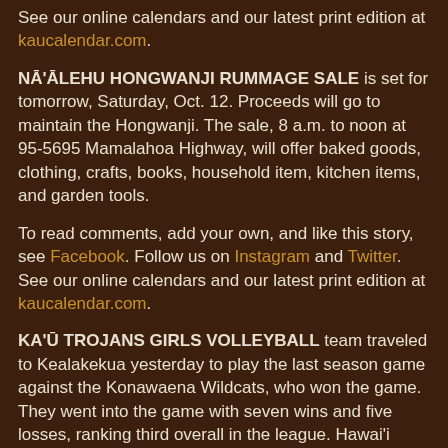See our online calendars and our latest print edition at kaucalendar.com.
NĀ'ĀLEHU HONGWANJI RUMMAGE SALE is set for tomorrow, Saturday, Oct. 12. Proceeds will go to maintain the Hongwanji. The sale, 8 a.m. to noon at 95-5695 Mamalahoa Highway, will offer baked goods, clothing, crafts, books, household item, kitchen items, and garden tools.
To read comments, add your own, and like this story, see Facebook. Follow us on Instagram and Twitter. See our online calendars and our latest print edition at kaucalendar.com.
KA'Ū TROJANS GIRLS VOLLEYBALL team traveled to Kealakekua yesterday to play the last season game against the Konawaena Wildcats, who won the game. They went into the game with seven wins and five losses, ranking third overall in the league. Hawai'i Preparatory had eight wins and five losses, and Konawaena had seven wins and three losses. The Trojans faced the Wildcats, Konawaena taking all the sets 25 to 12, 25 to 3, and 25 to 20. Ka'ū seniors playing in...